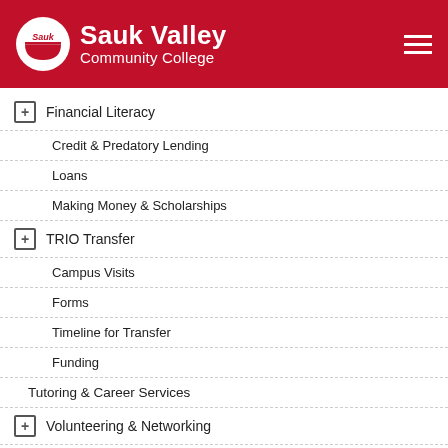Sauk Valley Community College
Financial Literacy
Credit & Predatory Lending
Loans
Making Money & Scholarships
TRIO Transfer
Campus Visits
Forms
Timeline for Transfer
Funding
Tutoring & Career Services
Volunteering & Networking
TRIO Conference
TRIO Cares Days
TRIO Program Application
Benefits
Eligibility & Participation Requirements
Veterans Services
COVID-19